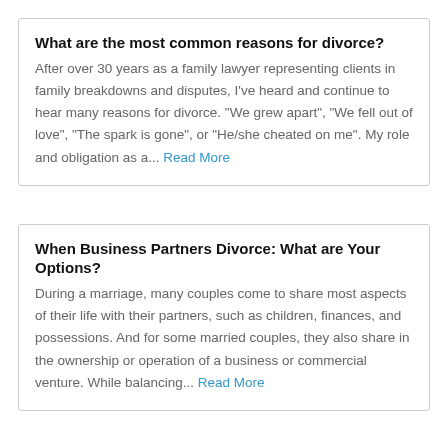What are the most common reasons for divorce?
After over 30 years as a family lawyer representing clients in family breakdowns and disputes, I've heard and continue to hear many reasons for divorce. “We grew apart”, “We fell out of love”, “The spark is gone”, or “He/she cheated on me”. My role and obligation as a... Read More
When Business Partners Divorce: What are Your Options?
During a marriage, many couples come to share most aspects of their life with their partners, such as children, finances, and possessions. And for some married couples, they also share in the ownership or operation of a business or commercial venture. While balancing... Read More